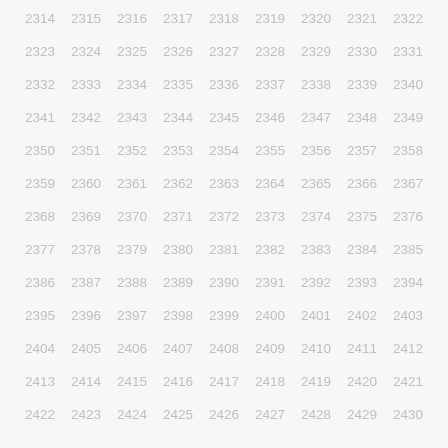2314 2315 2316 2317 2318 2319 2320 2321 2322
2323 2324 2325 2326 2327 2328 2329 2330 2331
2332 2333 2334 2335 2336 2337 2338 2339 2340
2341 2342 2343 2344 2345 2346 2347 2348 2349
2350 2351 2352 2353 2354 2355 2356 2357 2358
2359 2360 2361 2362 2363 2364 2365 2366 2367
2368 2369 2370 2371 2372 2373 2374 2375 2376
2377 2378 2379 2380 2381 2382 2383 2384 2385
2386 2387 2388 2389 2390 2391 2392 2393 2394
2395 2396 2397 2398 2399 2400 2401 2402 2403
2404 2405 2406 2407 2408 2409 2410 2411 2412
2413 2414 2415 2416 2417 2418 2419 2420 2421
2422 2423 2424 2425 2426 2427 2428 2429 2430